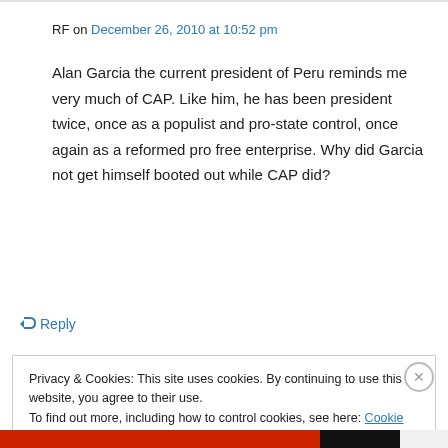RF on December 26, 2010 at 10:52 pm
Alan Garcia the current president of Peru reminds me very much of CAP. Like him, he has been president twice, once as a populist and pro-state control, once again as a reformed pro free enterprise. Why did Garcia not get himself booted out while CAP did?
↳ Reply
Privacy & Cookies: This site uses cookies. By continuing to use this website, you agree to their use.
To find out more, including how to control cookies, see here: Cookie Policy
Close and accept